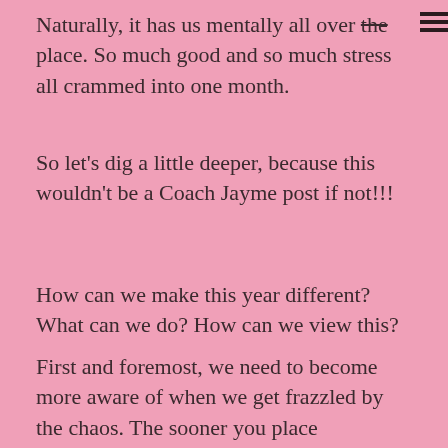Naturally, it has us mentally all over the place. So much good and so much stress all crammed into one month.
So let's dig a little deeper, because this wouldn't be a Coach Jayme post if not!!!
How can we make this year different? What can we do? How can we view this?
First and foremost, we need to become more aware of when we get frazzled by the chaos. The sooner you place awareness on this, the quicker you can shift it. When you catch yourself about to flip, take a moment and just breathe.